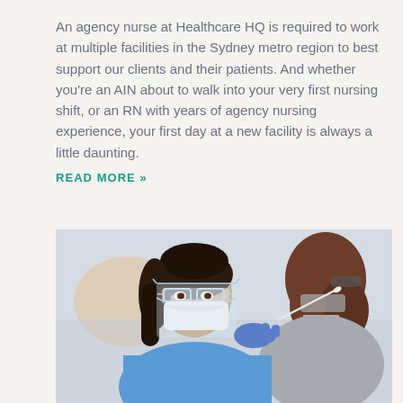An agency nurse at Healthcare HQ is required to work at multiple facilities in the Sydney metro region to best support our clients and their patients. And whether you're an AIN about to walk into your very first nursing shift, or an RN with years of agency nursing experience, your first day at a new facility is always a little daunting.
READ MORE »
[Figure (photo): A nurse wearing a face shield, safety glasses, surgical mask, and blue gloves holds a nasal swab while performing a COVID test on a patient (seen from behind, with glasses and long brown hair). Clinical setting with blurred background.]